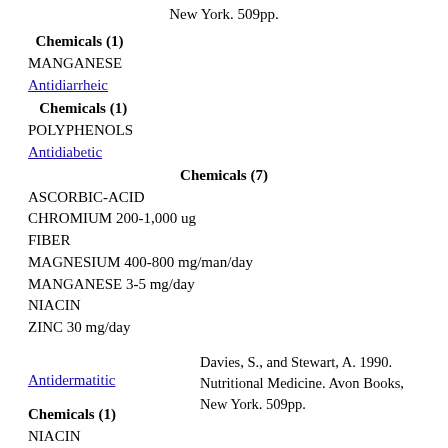New York. 509pp.
Chemicals (1)
MANGANESE
Antidiarrheic
Chemicals (1)
POLYPHENOLS
Antidiabetic
Chemicals (7)
ASCORBIC-ACID
CHROMIUM 200-1,000 ug
FIBER
MAGNESIUM 400-800 mg/man/day
MANGANESE 3-5 mg/day
NIACIN
ZINC 30 mg/day
Antidermatitic
Davies, S., and Stewart, A. 1990. Nutritional Medicine. Avon Books, New York. 509pp.
Chemicals (1)
NIACIN